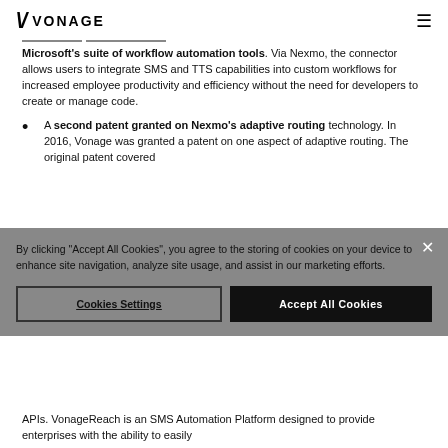VONAGE
Microsoft's suite of workflow automation tools. Via Nexmo, the connector allows users to integrate SMS and TTS capabilities into custom workflows for increased employee productivity and efficiency without the need for developers to create or manage code.
A second patent granted on Nexmo's adaptive routing technology. In 2016, Vonage was granted a patent on one aspect of adaptive routing. The original patent covered
By clicking "Accept All Cookies", you agree to the storing of cookies on your device to enhance site navigation, analyze site usage, and assist in our marketing efforts.
Cookies Settings    Accept All Cookies
APIs. VonageReach is an SMS Automation Platform designed to provide enterprises with the ability to easily